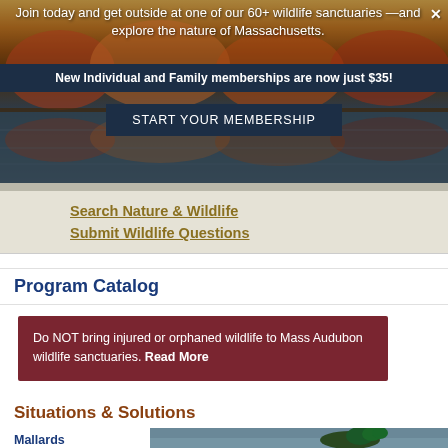[Figure (photo): Scenic autumn lake with colorful foliage reflected in water, used as hero banner background]
Join today and get outside at one of our 60+ wildlife sanctuaries —and explore the nature of Massachusetts.
New Individual and Family memberships are now just $35!
START YOUR MEMBERSHIP
Search Nature & Wildlife
Submit Wildlife Questions
Program Catalog
Do NOT bring injured or orphaned wildlife to Mass Audubon wildlife sanctuaries. Read More
Situations & Solutions
Mallards thrive in developed areas, where
[Figure (photo): Close-up photo of a mallard duck swimming on water]